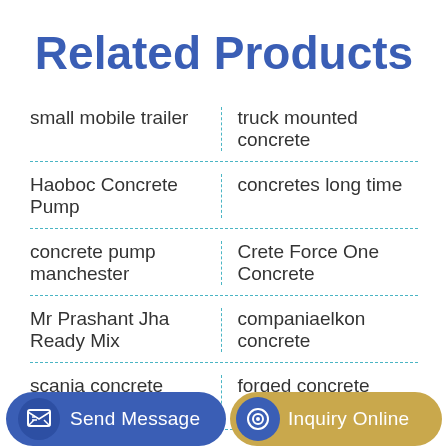Related Products
small mobile trailer
truck mounted concrete
Haoboc Concrete Pump
concretes long time
concrete pump manchester
Crete Force One Concrete
Mr Prashant Jha Ready Mix
companiaelkon concrete
scania concrete mixer truck
forged concrete pump